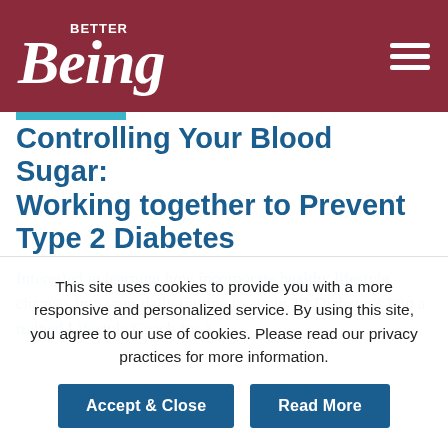Better Being
Controlling Your Blood Sugar: Working together to Prevent Type 2 Diabetes
Interested in learning how incorporate healthy lifestyle changes into your daily routine to avoid T2 Diabetes? Join a trained Lifestyle Coach for a
This site uses cookies to provide you with a more responsive and personalized service. By using this site, you agree to our use of cookies. Please read our privacy practices for more information.
Accept & Close
Read More